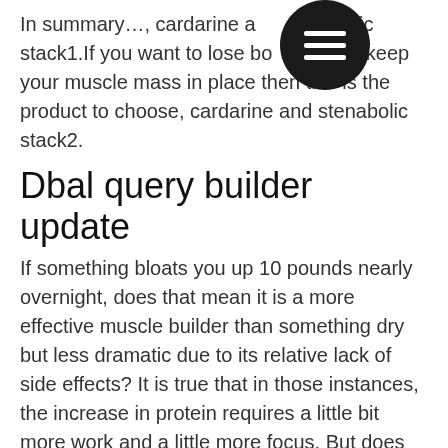In summary…, cardarine and stenabolic stack1.If you want to lose body fat and keep your muscle mass in place then this is the product to choose, cardarine and stenabolic stack2.
[Figure (other): Circular hamburger menu icon, black circle with three horizontal white lines]
Dbal query builder update
If something bloats you up 10 pounds nearly overnight, does that mean it is a more effective muscle builder than something dry but less dramatic due to its relative lack of side effects? It is true that in those instances, the increase in protein requires a little bit more work and a little more focus. But does that really make protein as a tool a better tool than dry protein, doctrine query builder limit? That is a tough one to answer.
However, what you should never do (in any context) is to treat supplements like vitamins and supplements like supplements.